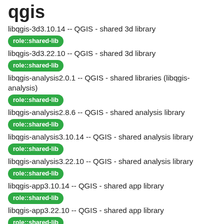qgis
libqgis-3d3.10.14 -- QGIS - shared 3d library
role::shared-lib
libqgis-3d3.22.10 -- QGIS - shared 3d library
role::shared-lib
libqgis-analysis2.0.1 -- QGIS - shared libraries (libqgis-analysis)
role::shared-lib
libqgis-analysis2.8.6 -- QGIS - shared analysis library
role::shared-lib
libqgis-analysis3.10.14 -- QGIS - shared analysis library
role::shared-lib
libqgis-analysis3.22.10 -- QGIS - shared analysis library
role::shared-lib
libqgis-app3.10.14 -- QGIS - shared app library
role::shared-lib
libqgis-app3.22.10 -- QGIS - shared app library
role::shared-lib
libqgis-core2.0.1 -- QGIS - shared libraries (libqgis-core)